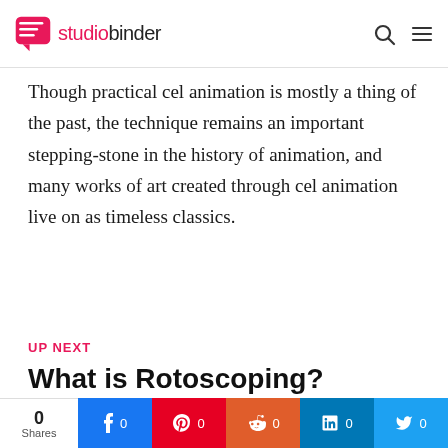studiobinder
Though practical cel animation is mostly a thing of the past, the technique remains an important stepping-stone in the history of animation, and many works of art created through cel animation live on as timeless classics.
UP NEXT
What is Rotoscoping?
Now that you know what cel animation is, you might be